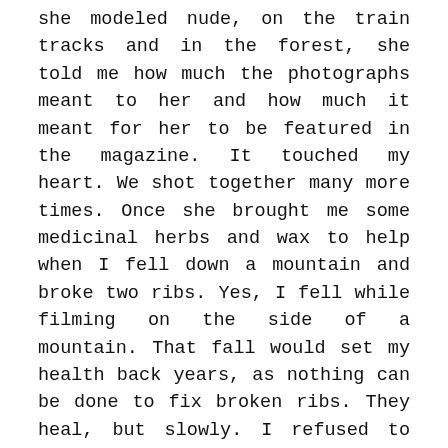she modeled nude, on the train tracks and in the forest, she told me how much the photographs meant to her and how much it meant for her to be featured in the magazine. It touched my heart. We shot together many more times. Once she brought me some medicinal herbs and wax to help when I fell down a mountain and broke two ribs. Yes, I fell while filming on the side of a mountain. That fall would set my health back years, as nothing can be done to fix broken ribs. They heal, but slowly. I refused to take narcotics of any kind, as fate had it, I was literally still going through massive pain killer withdrawal at the same time.
I was only in Switzerland a month or so. My